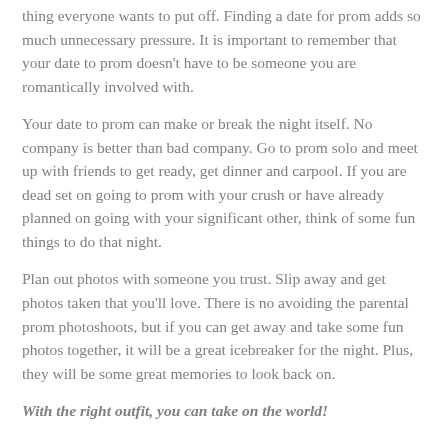thing everyone wants to put off. Finding a date for prom adds so much unnecessary pressure. It is important to remember that your date to prom doesn't have to be someone you are romantically involved with.
Your date to prom can make or break the night itself. No company is better than bad company. Go to prom solo and meet up with friends to get ready, get dinner and carpool. If you are dead set on going to prom with your crush or have already planned on going with your significant other, think of some fun things to do that night.
Plan out photos with someone you trust. Slip away and get photos taken that you'll love. There is no avoiding the parental prom photoshoots, but if you can get away and take some fun photos together, it will be a great icebreaker for the night. Plus, they will be some great memories to look back on.
With the right outfit, you can take on the world!